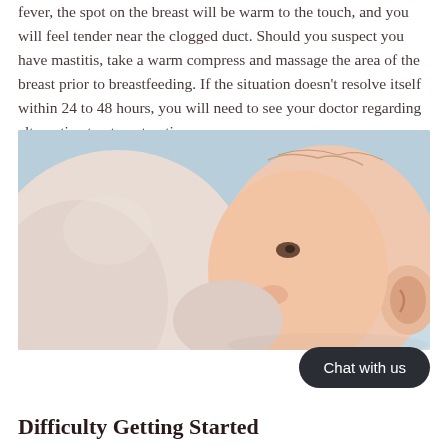fever, the spot on the breast will be warm to the touch, and you will feel tender near the clogged duct. Should you suspect you have mastitis, take a warm compress and massage the area of the breast prior to breastfeeding. If the situation doesn't resolve itself within 24 to 48 hours, you will need to see your doctor regarding alternative treatment options.
[Figure (photo): Close-up photo of a baby breastfeeding, showing the baby's face and ear against a soft light background.]
Chat with us
Difficulty Getting Started